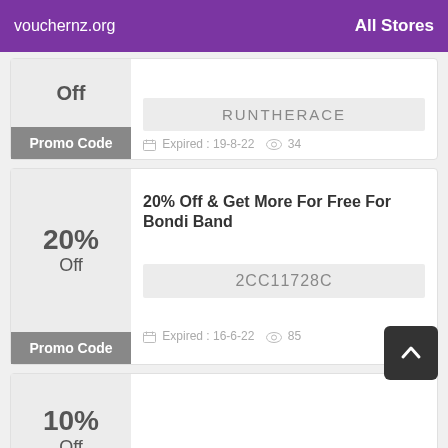vouchernz.org    All Stores
Off
Promo Code
RUNTHERACE
Expired : 19-8-22   34
20% Off & Get More For Free For Bondi Band
20% Off
Promo Code
2CC11728C
Expired : 16-6-22   85
Get Up To 10% Off Sitewide
10% Off
LINZY